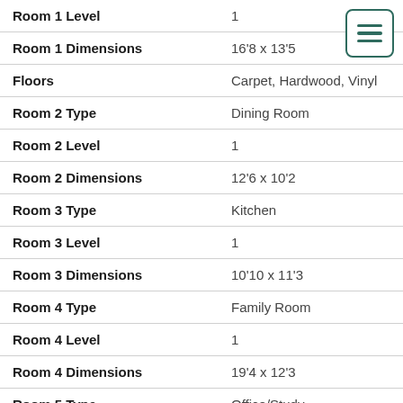| Field | Value |
| --- | --- |
| Room 1 Level | 1 |
| Room 1 Dimensions | 16'8 x 13'5 |
| Floors | Carpet, Hardwood, Vinyl |
| Room 2 Type | Dining Room |
| Room 2 Level | 1 |
| Room 2 Dimensions | 12'6 x 10'2 |
| Room 3 Type | Kitchen |
| Room 3 Level | 1 |
| Room 3 Dimensions | 10'10 x 11'3 |
| Room 4 Type | Family Room |
| Room 4 Level | 1 |
| Room 4 Dimensions | 19'4 x 12'3 |
| Room 5 Type | Office/Study |